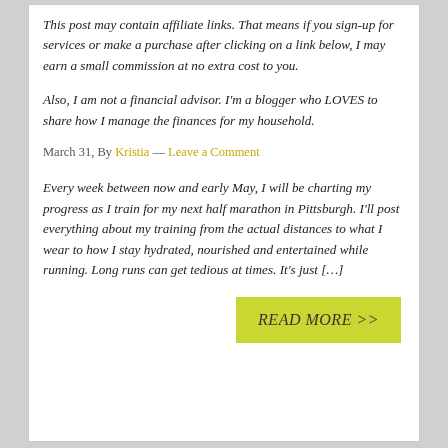This post may contain affiliate links. That means if you sign-up for services or make a purchase after clicking on a link below, I may earn a small commission at no extra cost to you.
Also, I am not a financial advisor. I'm a blogger who LOVES to share how I manage the finances for my household.
March 31, By Kristia — Leave a Comment
Every week between now and early May, I will be charting my progress as I train for my next half marathon in Pittsburgh. I'll post everything about my training from the actual distances to what I wear to how I stay hydrated, nourished and entertained while running. Long runs can get tedious at times. It's just […]
READ MORE >>